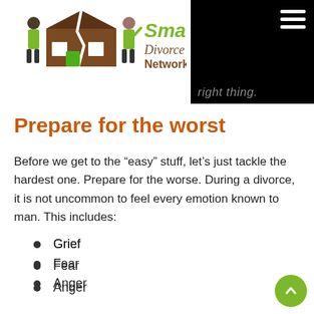Smart Divorce Network.com — right thing.
Prepare for the worst
Before we get to the “easy” stuff, let’s just tackle the hardest one. Prepare for the worse. During a divorce, it is not uncommon to feel every emotion known to man. This includes:
Grief
Fear
Anger
Pride
Love